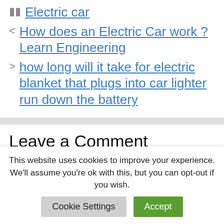Electric car
How does an Electric Car work ? Learn Engineering
how long will it take for electric blanket that plugs into car lighter run down the battery
Leave a Comment
This website uses cookies to improve your experience. We'll assume you're ok with this, but you can opt-out if you wish.
Cookie Settings | Accept